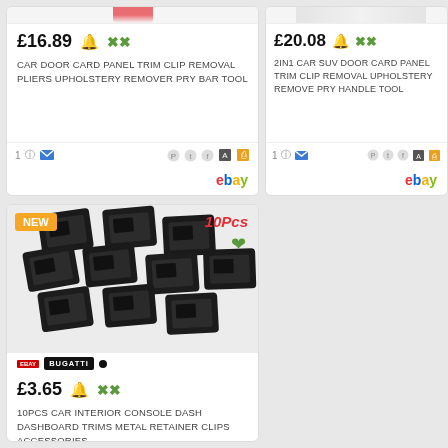[Figure (screenshot): Product listing card for CAR DOOR CARD PANEL TRIM CLIP REMOVAL PLIERS showing price £16.89 with bell and cross icons, social share icons, and eBay logo]
CAR DOOR CARD PANEL TRIM CLIP REMOVAL PLIERS UPHOLSTERY REMOVER PRY BAR TOOL
[Figure (screenshot): Product listing card for 2IN1 CAR SUV DOOR CARD PANEL TRIM CLIP REMOVAL UPHOLSTERY REMOVE PRY HANDLE TOOL showing price £20.08]
2IN1 CAR SUV DOOR CARD PANEL TRIM CLIP REMOVAL UPHOLSTERY REMOVE PRY HANDLE TOOL
[Figure (photo): 10 black metal clips/retainer clips arranged in a grid on white background, with NEW badge (orange), 10Pcs label in red, green heart icon, Bugatti brand tag, showing price £3.65]
10PCS CAR INTERIOR CONSOLE DASH DASHBOARD TRIMS METAL RETAINER CLIPS ACCESSORIES